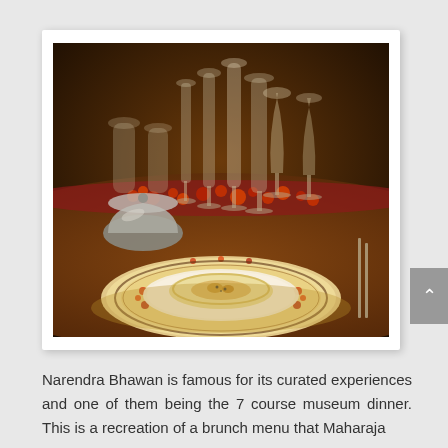[Figure (photo): A formal dinner table setting photographed in warm amber/dark tones, showing elegant crystal wine glasses and water goblets arranged along the center of a wooden table with red floral decorations, and in the foreground a decorative plate with floral borders containing a bowl with food.]
Narendra Bhawan is famous for its curated experiences and one of them being the 7 course museum dinner. This is a recreation of a brunch menu that Maharaja